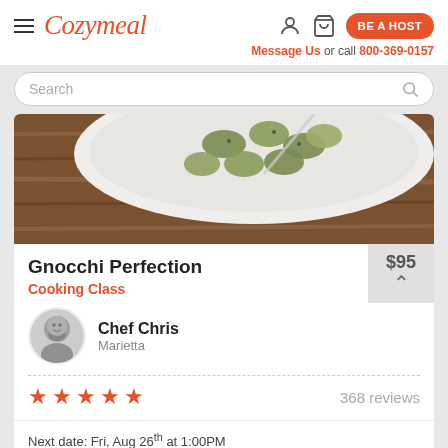Cozymeal — BE A HOST — Message Us or call 800-369-0157
Search
[Figure (photo): Close-up photo of herb-crusted gnocchi in a white bowl on a wooden table]
Gnocchi Perfection
Cooking Class
$95
Chef Chris
Marietta
★★★★★  368 reviews
Next date: Fri, Aug 26th at 1:00PM